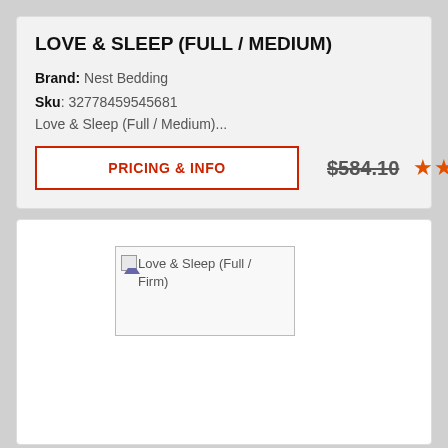LOVE & SLEEP (FULL / MEDIUM)
Brand: Nest Bedding
Sku: 32778459545681
Love & Sleep (Full / Medium)...
PRICING & INFO
$584.10
[Figure (other): Five orange star rating icons]
[Figure (photo): Broken image placeholder for Love & Sleep (Full / Firm)]